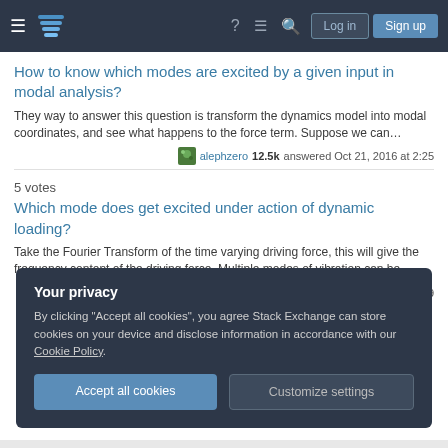Stack Exchange navigation bar with Log in and Sign up buttons
How to know which modes are excited by a given input in modal analysis?
They way to answer this question is transform the dynamics model into modal coordinates, and see what happens to the force term. Suppose we can…
alephzero 12.5k answered Oct 21, 2016 at 2:25
5 votes
Which mode does get excited under action of dynamic loading?
Take the Fourier Transform of the time varying driving force, this will give the frequency content of the driving force. Multiple modes of vibration can be…
Involute 1,307 answered Sep 18, 2016 at 21:49
Your privacy
By clicking "Accept all cookies", you agree Stack Exchange can store cookies on your device and disclose information in accordance with our Cookie Policy.
Accept all cookies  Customize settings